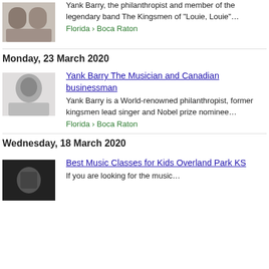[Figure (photo): Thumbnail photo of two men, one in a suit]
Yank Barry, the philanthropist and member of the legendary band The Kingsmen of “Louie, Louie”…
Florida › Boca Raton
Monday, 23 March 2020
[Figure (photo): Black and white headshot photo of a smiling man]
Yank Barry The Musician and Canadian businessman
Yank Barry is a World-renowned philanthropist, former kingsmen lead singer and Nobel prize nominee…
Florida › Boca Raton
Wednesday, 18 March 2020
[Figure (photo): Dark thumbnail image]
Best Music Classes for Kids Overland Park KS
If you are looking for the music...